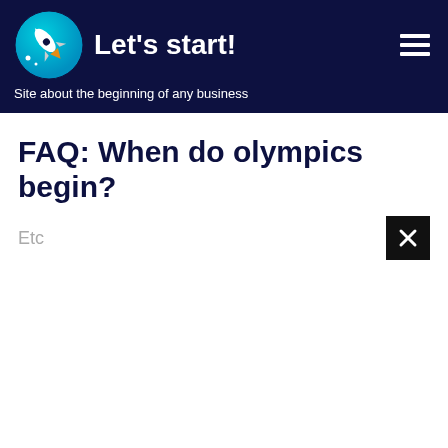Let's start! — Site about the beginning of any business
FAQ: When do olympics begin?
Etc